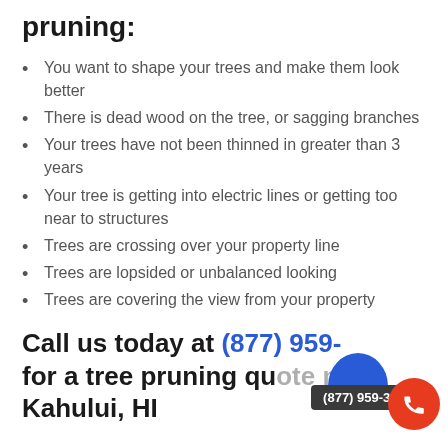pruning:
You want to shape your trees and make them look better
There is dead wood on the tree, or sagging branches
Your trees have not been thinned in greater than 3 years
Your tree is getting into electric lines or getting too near to structures
Trees are crossing over your property line
Trees are lopsided or unbalanced looking
Trees are covering the view from your property
Call us today at (877) 959- for a tree pruning quote near Kahului, HI